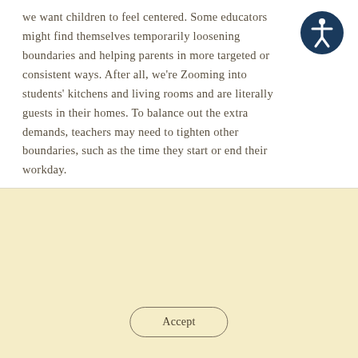we want children to feel centered. Some educators might find themselves temporarily loosening boundaries and helping parents in more targeted or consistent ways. After all, we're Zooming into students' kitchens and living rooms and are literally guests in their homes. To balance out the extra demands, teachers may need to tighten other boundaries, such as the time they start or end their workday.
[Figure (illustration): Accessibility icon: circular dark blue badge with a white figure of a person with arms and legs extended, representing universal accessibility]
We use cookies on this site to optimize site functionality and ensure you get the best possible experience. If you would like to disable cookies on this device, please review the section on 'Managing cookies' in our privacy policy. View our Privacy Policy